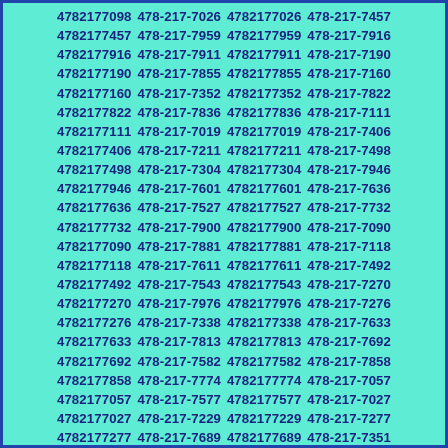4782177098 478-217-7026 4782177026 478-217-7457 4782177457 478-217-7959 4782177959 478-217-7916 4782177916 478-217-7911 4782177911 478-217-7190 4782177190 478-217-7855 4782177855 478-217-7160 4782177160 478-217-7352 4782177352 478-217-7822 4782177822 478-217-7836 4782177836 478-217-7111 4782177111 478-217-7019 4782177019 478-217-7406 4782177406 478-217-7211 4782177211 478-217-7498 4782177498 478-217-7304 4782177304 478-217-7946 4782177946 478-217-7601 4782177601 478-217-7636 4782177636 478-217-7527 4782177527 478-217-7732 4782177732 478-217-7900 4782177900 478-217-7090 4782177090 478-217-7881 4782177881 478-217-7118 4782177118 478-217-7611 4782177611 478-217-7492 4782177492 478-217-7543 4782177543 478-217-7270 4782177270 478-217-7976 4782177976 478-217-7276 4782177276 478-217-7338 4782177338 478-217-7633 4782177633 478-217-7813 4782177813 478-217-7692 4782177692 478-217-7582 4782177582 478-217-7858 4782177858 478-217-7774 4782177774 478-217-7057 4782177057 478-217-7577 4782177577 478-217-7027 4782177027 478-217-7229 4782177229 478-217-7277 4782177277 478-217-7689 4782177689 478-217-7351 4782177351 478-217-7727 4782177727 478-217-7594 4782177594 478-217-7602 4782177602 478-217-7541 4782177541 478-217-7470 4782177470 478-217-7358 4782177358 478-217-7269 4782177269 478-217-7249